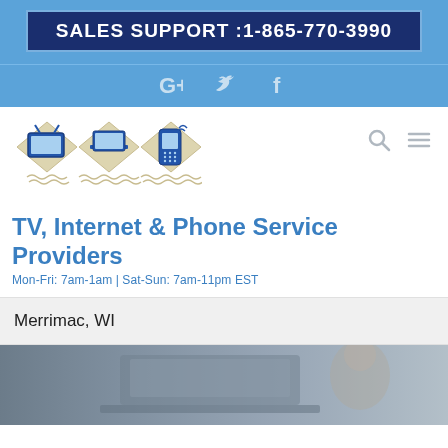SALES SUPPORT :1-865-770-3990
[Figure (other): Social media icons row: Google+, Twitter, Facebook]
[Figure (logo): TV, Internet & Phone Service Providers logo with TV, laptop, and phone icons on diamond shapes]
TV, Internet & Phone Service Providers
Mon-Fri: 7am-1am | Sat-Sun: 7am-11pm EST
Merrimac, WI
[Figure (photo): Blurred photo of person using a laptop computer]